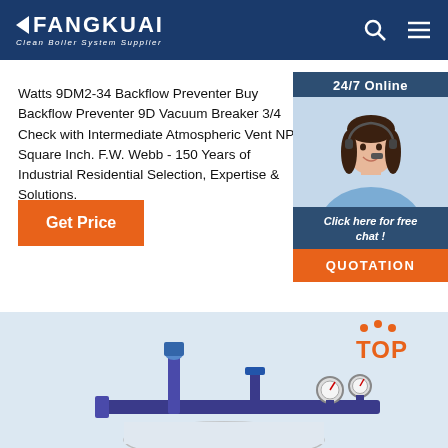FANGKUAI Clean Boiler System Supplier
Watts 9DM2-34 Backflow Preventer Buy Backflow Preventer 9D Vacuum Breaker 3/4 Check with Intermediate Atmospheric Vent NPT Square Inch. F.W. Webb - 150 Years of Industrial Residential Selection, Expertise & Solutions.
Get Price
24/7 Online
[Figure (photo): Customer service representative woman with headset, smiling]
Click here for free chat !
QUOTATION
[Figure (photo): Industrial boiler piping equipment, blue pipe assembly with valves and pressure gauges, and a TOP badge in orange on the right]